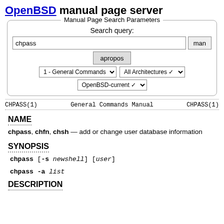OpenBSD manual page server
Manual Page Search Parameters
Search query:
chpass | man | apropos
1 - General Commands | All Architectures
OpenBSD-current
CHPASS(1)   General Commands Manual   CHPASS(1)
NAME
chpass, chfn, chsh — add or change user database information
SYNOPSIS
chpass [-s newshell] [user]
chpass -a list
DESCRIPTION